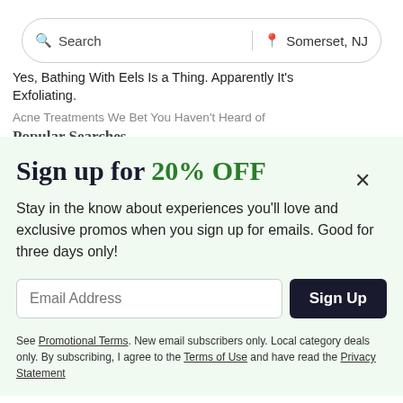Search | Somerset, NJ
Yes, Bathing With Eels Is a Thing. Apparently It's Exfoliating.
Acne Treatments We Bet You Haven't Heard of
Popular Searches
Sign up for 20% OFF
Stay in the know about experiences you'll love and exclusive promos when you sign up for emails. Good for three days only!
Email Address
Sign Up
See Promotional Terms. New email subscribers only. Local category deals only. By subscribing, I agree to the Terms of Use and have read the Privacy Statement